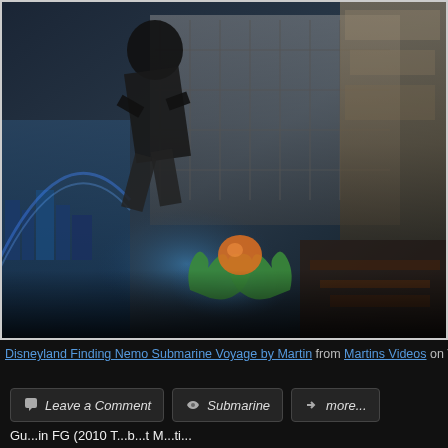[Figure (screenshot): Video thumbnail collage showing a person in black suit jumping, building scaffolding, stone carvings, cityscape, blue glowing orb held by green hands, dark overlay bottom]
Disneyland Finding Nemo Submarine Voyage by Martin from Martins Videos on V…
Leave a Comment
Submarine
more...
Gu...in FG (2010 T...b...t M...ti...